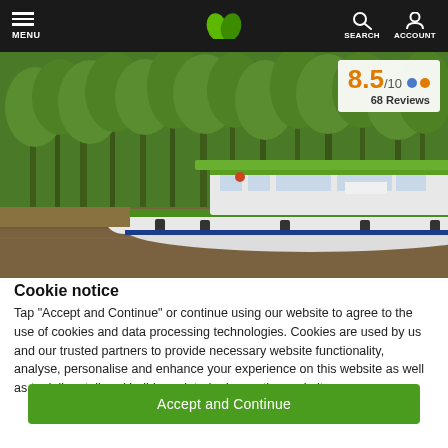MENU | [logo] | SEARCH ACCOUNT
[Figure (photo): A white and green canal boat floating on a river, surrounded by dense green trees and foliage. Rating badge overlay shows 8.5/10 with 68 Reviews.]
Cookie notice
Tap "Accept and Continue" or continue using our website to agree to the use of cookies and data processing technologies. Cookies are used by us and our trusted partners to provide necessary website functionality, analyse, personalise and enhance your experience on this website as well as to deliver tailored holiday-related ads on other websites.
Accept and Continue